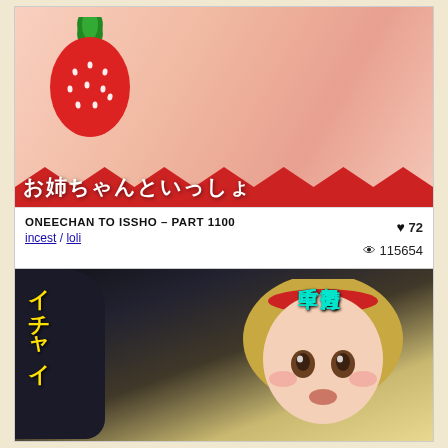[Figure (illustration): Anime illustration thumbnail showing manga cover 'Oneechan to Issho' with strawberry motif and Japanese title text お姉ちゃんといっしょ]
ONEECHAN TO ISSHO - PART 1100
incest / loli
♥ 72
👁 115654
17/04/2020
[Figure (illustration): Anime illustration thumbnail showing a blonde girl with red headband in a car, with Japanese vertical text in cyan and yellow]